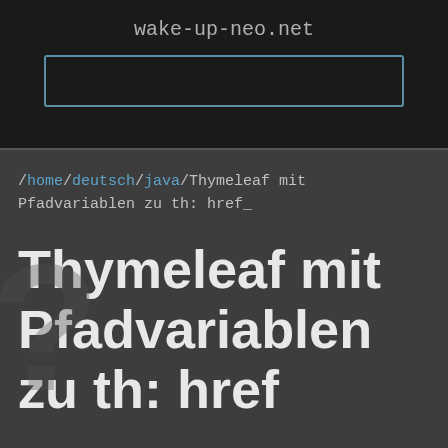wake-up-neo.net
/home/deutsch/java/Thymeleaf mit Pfadvariablen zu th: href_
Thymeleaf mit Pfadvariablen zu th: href